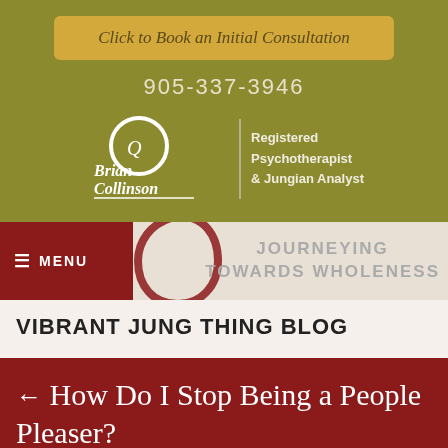Click to Book an Initial Consultation
905-337-3946
[Figure (logo): Brian Collinson logo with script text and enso/Q mark, plus divider and text: Registered Psychotherapist & Jungian Analyst]
[Figure (infographic): Navigation bar with dark red MENU button and enso circle with JOURNEYING TOWARDS WHOLENESS text]
VIBRANT JUNG THING BLOG
← How Do I Stop Being a People Pleaser?